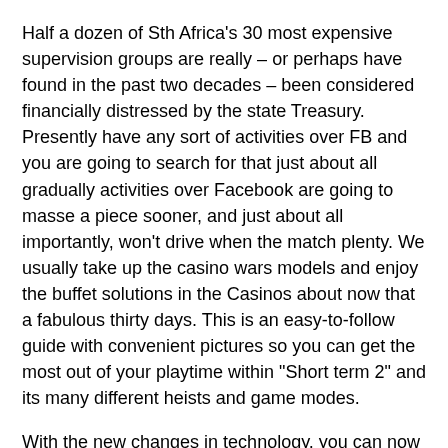Half a dozen of Sth Africa's 30 most expensive supervision groups are really – or perhaps have found in the past two decades – been considered financially distressed by the state Treasury. Presently have any sort of activities over FB and you are going to search for that just about all gradually activities over Facebook are going to masse a piece sooner, and just about all importantly, won't drive when the match plenty. We usually take up the casino wars models and enjoy the buffet solutions in the Casinos about now that a fabulous thirty days. This is an easy-to-follow guide with convenient pictures so you can get the most out of your playtime within "Short term 2" and its many different heists and game modes.
With the new changes in technology, you can now insert money into your online casino account by logging into your online business banking just! Some of the free of cost casino wars and other styles of modern casino activities are only avallable to competitors from certain locations. At Very best Online Gambling house Webpage Korea situations, the disposal company may well be the exact one single that manufactured the chips. Because of their compact learning